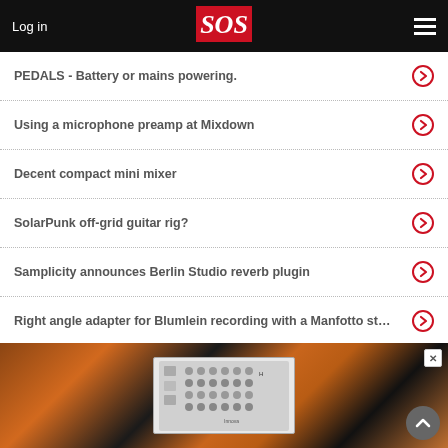Log in | SOS
PEDALS - Battery or mains powering.
Using a microphone preamp at Mixdown
Decent compact mini mixer
SolarPunk off-grid guitar rig?
Samplicity announces Berlin Studio reverb plugin
Right angle adapter for Blumlein recording with a Manfotto st…
Laptop pedalboard live...?
[Figure (photo): Advertisement banner showing audio equipment (patch bay / module) with warm orange/brown background lighting. Includes a close button (X) in top right and a scroll-to-top arrow button in bottom right.]